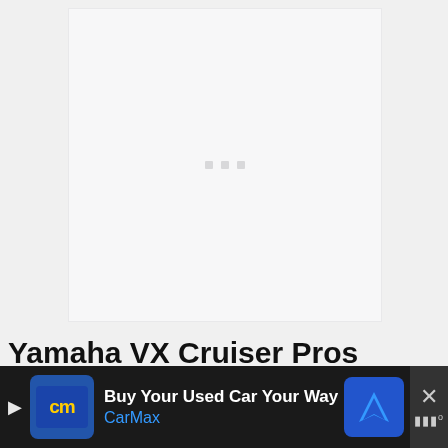[Figure (photo): White/light gray placeholder image area with three small gray loading squares in the center, representing a loading or blank media area.]
Yamaha VX Cruiser Pros
Lighter hull due to the NanoXcel
[Figure (screenshot): CarMax advertisement banner at the bottom of the page with dark background, CarMax logo, text 'Buy Your Used Car Your Way' and 'CarMax', a blue navigation/directions icon, and an X close button with sound icon.]